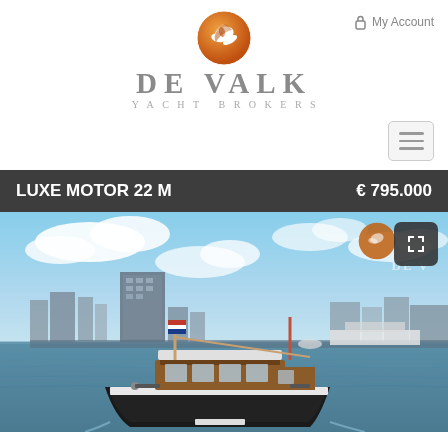[Figure (logo): De Valk Yacht Brokers logo with orange circle emblem above text DE VALK YACHT BROKERS in grey serif letters]
My Account
[Figure (other): Hamburger menu button (three horizontal lines) in a rounded rectangle]
LUXE MOTOR 22 M   € 795.000
[Figure (photo): A classic dark-hulled Dutch motor barge (luxe motor) underway on a river with a city skyline in the background, blue sky with clouds, watermark DE V... logo visible top right of photo]